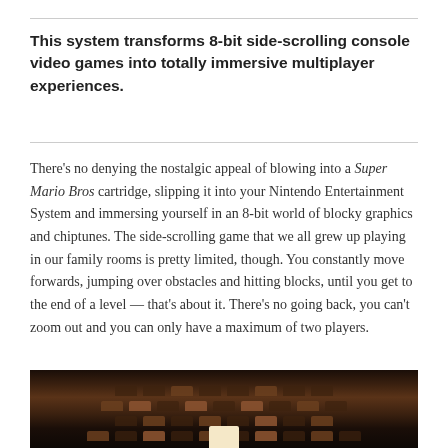This system transforms 8-bit side-scrolling console video games into totally immersive multiplayer experiences.
There's no denying the nostalgic appeal of blowing into a Super Mario Bros cartridge, slipping it into your Nintendo Entertainment System and immersing yourself in an 8-bit world of blocky graphics and chiptunes. The side-scrolling game that we all grew up playing in our family rooms is pretty limited, though. You constantly move forwards, jumping over obstacles and hitting blocks, until you get to the end of a level — that's about it. There's no going back, you can't zoom out and you can only have a maximum of two players.
[Figure (photo): Dark, dimly lit room with rows of seats visible, resembling a cinema or arcade setting. Warm amber and brown tones. A light-colored object is visible in the center foreground.]